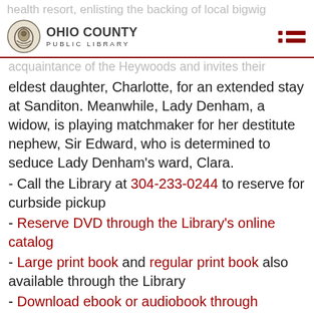OHIO COUNTY PUBLIC LIBRARY
health resort, enlisting the backing of local bigwig. Through a mishap, Tom makes the acquaintance of the Heywoods and invites their eldest daughter, Charlotte, for an extended stay at Sanditon. Meanwhile, Lady Denham, a widow, is playing matchmaker for her destitute nephew, Sir Edward, who is determined to seduce Lady Denham's ward, Clara.
- Call the Library at 304-233-0244 to reserve for curbside pickup
- Reserve DVD through the Library's online catalog
- Large print book and regular print book also available through the Library
- Download ebook or audiobook through WVDeli
- Download ebook or audiobook through Hoopla
Agatha Raisin — Acorn (British) original series (Seasons 1-3 available to reserve from Library):